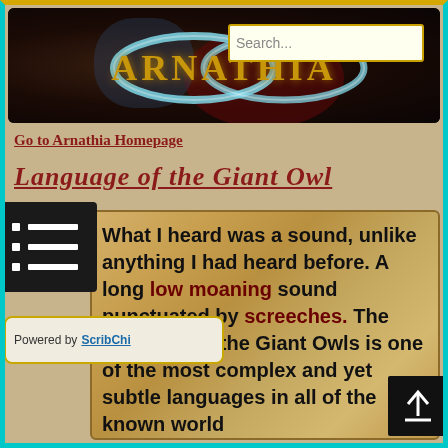[Figure (screenshot): Arnathia website header banner with stylized logo showing infinity ring symbol and 'ARNATHIA' text in gold on dark background, with a search box]
Go to Arnathia Homepage
Language of the Giant Owl
[Figure (screenshot): Mobile menu icon overlay (hamburger with dots) on dark background]
What I heard was a sound, unlike anything I had heard before. A long low moaning sound punctuated by screeches. The language of the Giant Owls is one of the most complex and yet subtle languages in all of the known world
Powered by ScribChi
[Figure (other): Scroll to top button with arrow and line on black background]